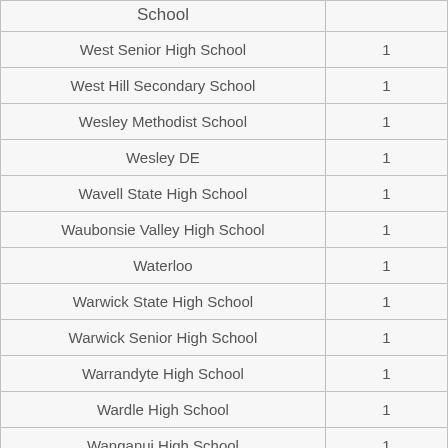| School |  |
| --- | --- |
| West Senior High School | 1 |
| West Hill Secondary School | 1 |
| Wesley Methodist School | 1 |
| Wesley DE | 1 |
| Wavell State High School | 1 |
| Waubonsie Valley High School | 1 |
| Waterloo | 1 |
| Warwick State High School | 1 |
| Warwick Senior High School | 1 |
| Warrandyte High School | 1 |
| Wardle High School | 1 |
| Wanganui High School | 1 |
| Walkden High School | 1 |
| Wahlert High School | 1 |